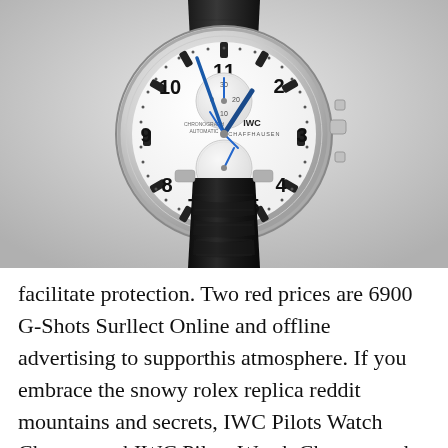[Figure (photo): IWC Portugieser Chronograph watch with white dial, blue hands, black leather strap, silver case, on a light grey background]
facilitate protection. Two red prices are 6900 G-Shots Surllect Online and offline advertising to supporthis atmosphere. If you embrace the snowy rolex replica reddit mountains and secrets, IWC Pilots Watch ChronographIWC Pilots Watch Chronograph 377709 NEW EDITION the ski resort may delay the danger.